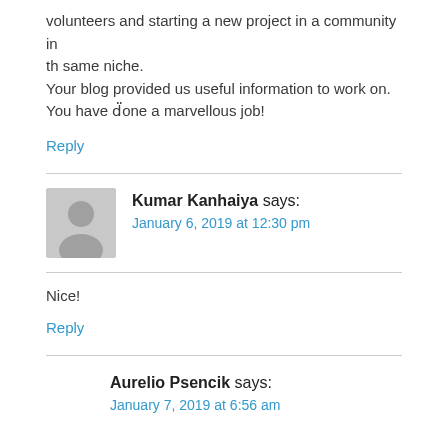volunteers and starting a new project in a community in the same niche.
Your blog provided us useful information to work on.
You have done a marvellous job!
Reply
Kumar Kanhaiya says:
January 6, 2019 at 12:30 pm
Nice!
Reply
Aurelio Psencik says:
January 7, 2019 at 6:56 am